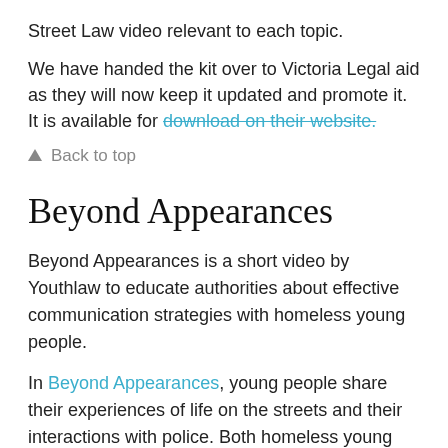Street Law video relevant to each topic.
We have handed the kit over to Victoria Legal aid as they will now keep it updated and promote it. It is available for download on their website.
↑ Back to top
Beyond Appearances
Beyond Appearances is a short video by Youthlaw to educate authorities about effective communication strategies with homeless young people.
In Beyond Appearances, young people share their experiences of life on the streets and their interactions with police. Both homeless young people and police officers say these interactions are sometimes difficult and fraught with